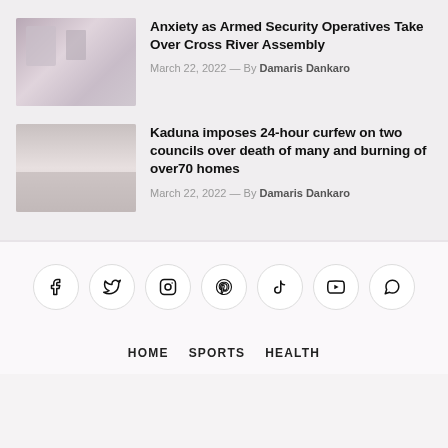[Figure (photo): Thumbnail photo of people in an office or assembly setting]
Anxiety as Armed Security Operatives Take Over Cross River Assembly
March 22, 2022 — By Damaris Dankaro
[Figure (photo): Thumbnail photo of buildings or homes exterior]
Kaduna imposes 24-hour curfew on two councils over death of many and burning of over70 homes
March 22, 2022 — By Damaris Dankaro
[Figure (infographic): Social media icons: Facebook, Twitter, Instagram, Pinterest, TikTok, YouTube, WhatsApp]
HOME   SPORTS   HEALTH